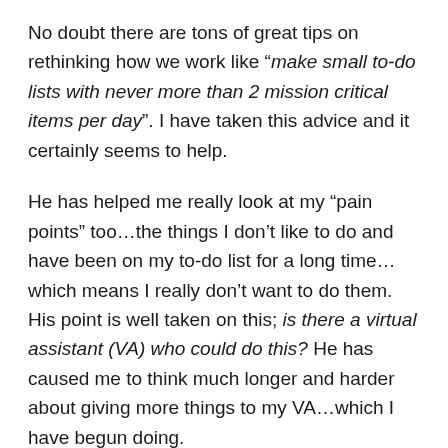No doubt there are tons of great tips on rethinking how we work like “make small to-do lists with never more than 2 mission critical items per day”. I have taken this advice and it certainly seems to help.
He has helped me really look at my “pain points” too…the things I don’t like to do and have been on my to-do list for a long time…which means I really don’t want to do them. His point is well taken on this; is there a virtual assistant (VA) who could do this? He has caused me to think much longer and harder about giving more things to my VA…which I have begun doing.